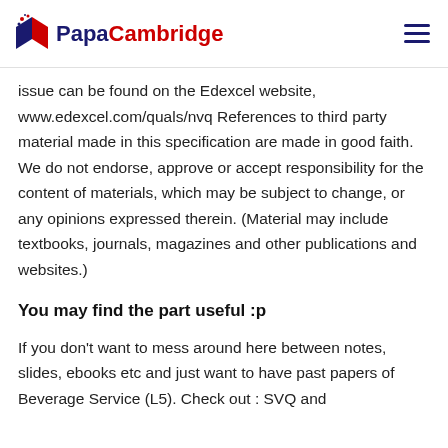PapaCambridge
issue can be found on the Edexcel website, www.edexcel.com/quals/nvq References to third party material made in this specification are made in good faith. We do not endorse, approve or accept responsibility for the content of materials, which may be subject to change, or any opinions expressed therein. (Material may include textbooks, journals, magazines and other publications and websites.)
You may find the part useful :p
If you don't want to mess around here between notes, slides, ebooks etc and just want to have past papers of Beverage Service (L5). Check out : SVQ and competency based qualifications Resources Such